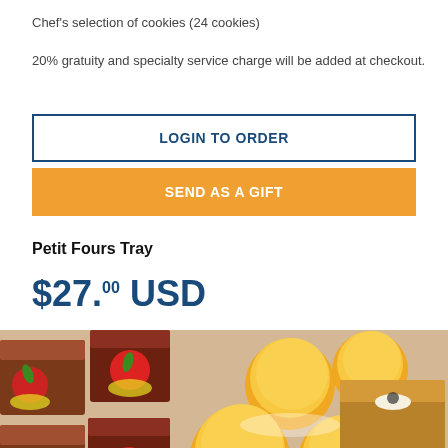Chef's selection of cookies (24 cookies)
20% gratuity and specialty service charge will be added at checkout.
LOGIN TO ORDER
SEND AS A GIFT
Petit Fours Tray
$27.00 USD
[Figure (photo): Assorted petit fours on a tray including chocolate squares with strawberries, yellow cream puffs, and caramel squares topped with cream and chocolate sprinkles]